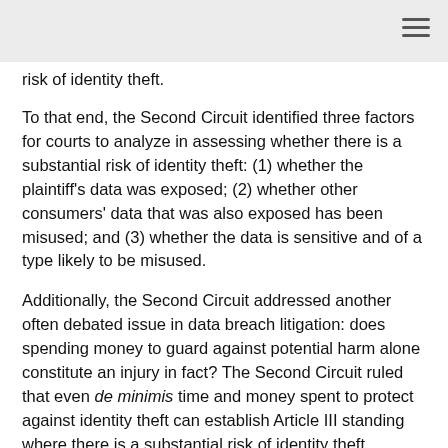risk of identity theft.
To that end, the Second Circuit identified three factors for courts to analyze in assessing whether there is a substantial risk of identity theft: (1) whether the plaintiff’s data was exposed; (2) whether other consumers’ data that was also exposed has been misused; and (3) whether the data is sensitive and of a type likely to be misused.
Additionally, the Second Circuit addressed another often debated issue in data breach litigation: does spending money to guard against potential harm alone constitute an injury in fact? The Second Circuit ruled that even de minimis time and money spent to protect against identity theft can establish Article III standing where there is a substantial risk of identity theft.
McMorris may prove to be a landmark opinion. The Second Circuit’s opinion is the first to set forth a list of factors for courts to assess when determining whether there is a substantial risk of identity theft and it is likely that litigants,